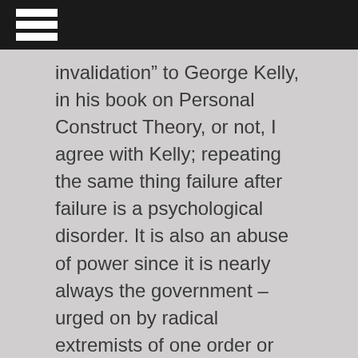invalidation” to George Kelly, in his book on Personal Construct Theory, or not, I agree with Kelly; repeating the same thing failure after failure is a psychological disorder. It is also an abuse of power since it is nearly always the government – urged on by radical extremists of one order or another – that is able to pass laws and then find a court to uphold same at the expense of the people both monetarily and vis-à-vis the stripping away of our Constitutional rights.